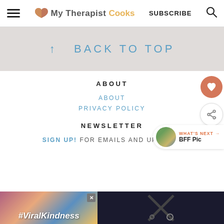My Therapist Cooks | SUBSCRIBE
↑  BACK TO TOP
ABOUT
ABOUT
PRIVACY POLICY
NEWSLETTER
SIGN UP! FOR EMAILS AND UPDATES
[Figure (other): Heart hands silhouette with #ViralKindness text advertisement]
[Figure (other): Cross/X pattern on dark background advertisement]